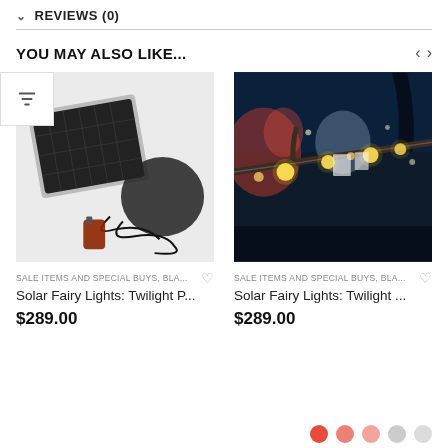REVIEWS (0)
YOU MAY ALSO LIKE...
[Figure (photo): Solar panel with tangled black string fairy lights and a small red remote on white background]
SALE ITEMS AND SPECIAL BUYS, BLA...
Solar Fairy Lights: Twilight P...
$289.00
[Figure (photo): Warm white globe fairy lights hanging on a branch at night with colorful bokeh background]
SALE ITEMS AND SPECIAL BUYS, BLA...
Solar Fairy Lights: Twilight ...
$289.00